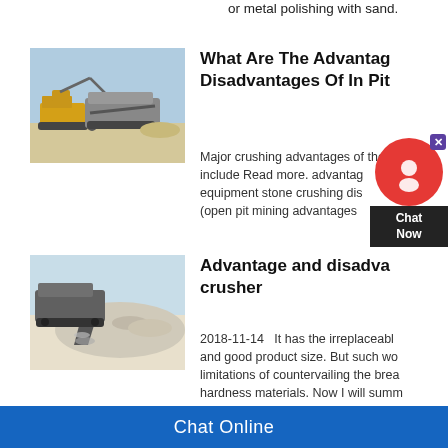or metal polishing with sand.
[Figure (photo): Industrial crushing/mining equipment with excavator and conveyor in open pit setting]
What Are The Advantages Disadvantages Of In Pit
Major crushing advantages of the K include Read more. advantage equipment stone crushing dis (open pit mining advantages
[Figure (photo): Industrial crusher machine producing aggregate/stone pile outdoors]
Advantage and disadvantage crusher
2018-11-14   It has the irreplaceable and good product size. But such wo limitations of countervailing the brea hardness materials. Now I will summ disadvantages of PF impact crusher
Chat Online